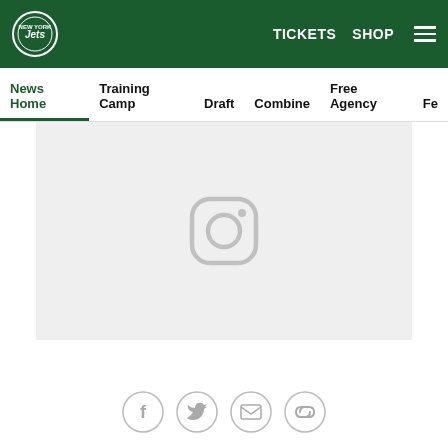New York Jets navigation bar with logo, TICKETS, SHOP, and hamburger menu
News Home | Training Camp | Draft | Combine | Free Agency | Fe...
[Figure (screenshot): Instagram embed placeholder with Instagram camera icon on light gray background]
[Figure (infographic): Social share icons: Facebook, Twitter, Email, Link]